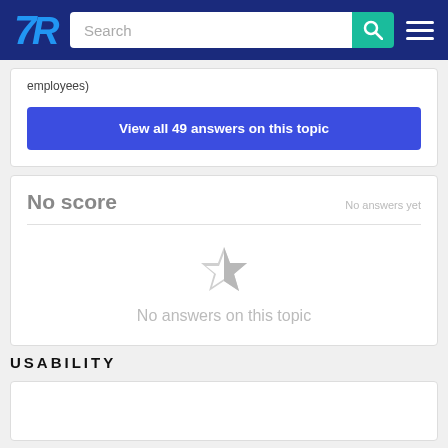TrustRadius — Search bar and navigation
employees)
View all 49 answers on this topic
No score
No answers yet
No answers on this topic
USABILITY